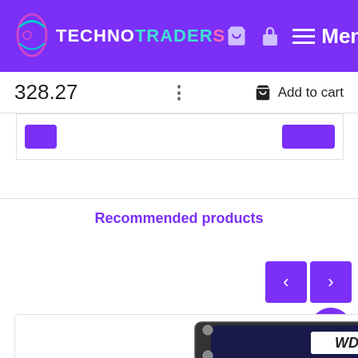[Figure (logo): TechnoTraders logo with shopping cart, lock icon, and menu button in purple header]
328.27
⋮
Add to cart
Recommended products
[Figure (photo): WD (Western Digital) hard drive product image]